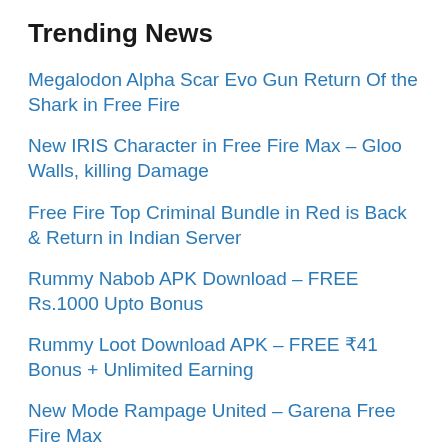Trending News
Megalodon Alpha Scar Evo Gun Return Of the Shark in Free Fire
New IRIS Character in Free Fire Max – Gloo Walls, killing Damage
Free Fire Top Criminal Bundle in Red is Back & Return in Indian Server
Rummy Nabob APK Download – FREE Rs.1000 Upto Bonus
Rummy Loot Download APK – FREE ₹41 Bonus + Unlimited Earning
New Mode Rampage United – Garena Free Fire Max
Free Fire Gold Royale Relaunch On 28 Aug – 3 Most Wanted Bundles